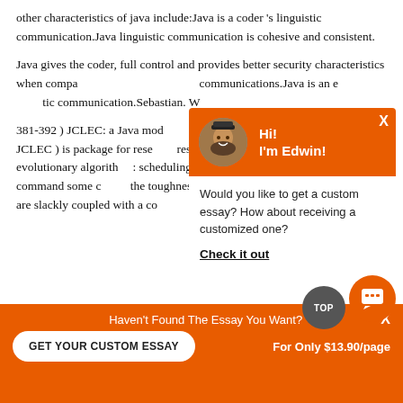other characteristics of java include:Java is a coder 's linguistic communication.Java linguistic communication is cohesive and consistent.
Java gives the coder, full control and provides better security characteristics when compared to other linguistic communications.Java is an extremely tic communication.Sebastian. W...
381-392 ) JCLEC: a Java mod... nis paper discusses Java catego... on ( JCLEC ) is package for rese... research, supplying high deg... / sort of evolutionary algorith... : scheduling, evolutionary sch... etc.JCLEC command some c... the toughness of object... d scheduling, where objects are slackly coupled with a co...
[Figure (screenshot): Orange popup chat widget with avatar photo, 'Hi! I'm Edwin!' header and 'Would you like to get a custom essay? How about receiving a customized one?' body text with 'Check it out' link]
[Figure (screenshot): Bottom orange banner: 'Haven't Found The Essay You Want?' with 'GET YOUR CUSTOM ESSAY' button and 'For Only $13.90/page' text]